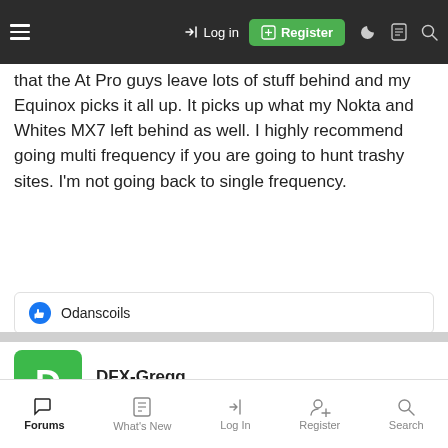Log in | Register
that the At Pro guys leave lots of stuff behind and my Equinox picks it all up. It picks up what my Nokta and Whites MX7 left behind as well. I highly recommend going multi frequency if you are going to hunt trashy sites. I'm not going back to single frequency.
Odanscoils
DFX-Gregg
Well-known member
Jan 24, 2022	#35
dfmike said: ↑
Forums | What's New | Log In | Register | Search